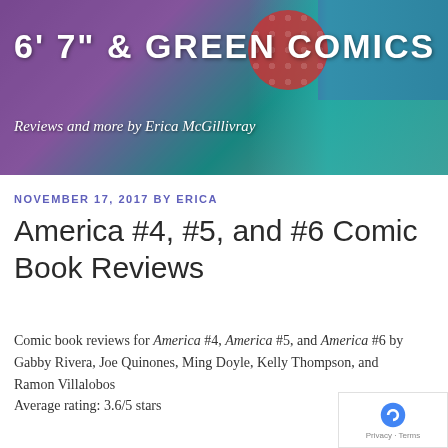6' 7" & GREEN COMICS — Reviews and more by Erica McGillivray
NOVEMBER 17, 2017 BY ERICA
America #4, #5, and #6 Comic Book Reviews
Comic book reviews for America #4, America #5, and America #6 by Gabby Rivera, Joe Quinones, Ming Doyle, Kelly Thompson, and Ramon Villalobos
Average rating: 3.6/5 stars
[Figure (photo): Cover of America #004 comic book by Marvel Comics, showing the title AMERICA in large red, white, and blue letters. Credits: Rivera, Quinones, Doyle, Marvel, Villalobos, Thompson.]